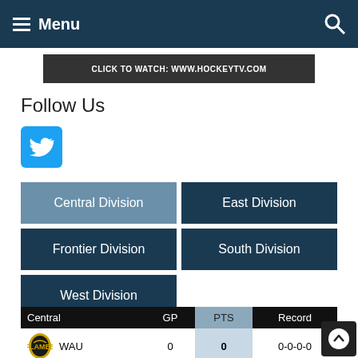Menu
CLICK TO WATCH: WWW.HOCKEYTV.COM
Follow Us
[Figure (logo): Twitter bird logo icon in blue square]
Central Division
East Division
Frontier Division
South Division
West Division
| Central | GP | PTS | Record |
| --- | --- | --- | --- |
| WAU | 0 | 0 | 0-0-0-0 |
| STL | 0 | 0 | 0-0-0-0 |